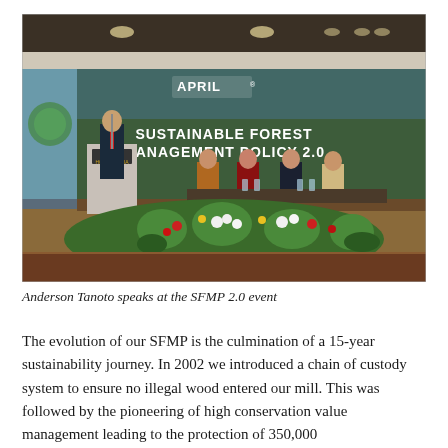[Figure (photo): Anderson Tanoto speaking at a podium during the SFMP 2.0 (Sustainable Forest Management Policy 2.0) event, with a large backdrop reading 'SUSTAINABLE FOREST MANAGEMENT POLICY 2.0' and the APRIL logo. Four panelists are seated at a table on stage. Floral arrangements are in the foreground.]
Anderson Tanoto speaks at the SFMP 2.0 event
The evolution of our SFMP is the culmination of a 15-year sustainability journey. In 2002 we introduced a chain of custody system to ensure no illegal wood entered our mill. This was followed by the pioneering of high conservation value management leading to the protection of 350,000